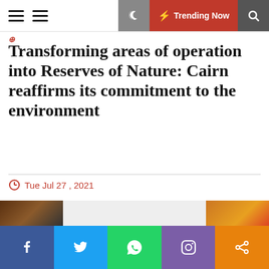Trending Now
Transforming areas of operation into Reserves of Nature: Cairn reaffirms its commitment to the environment
Tue Jul 27 , 2021
Spread the loveTransforming areas of operation into Reserves of Nature: Cairn reaffirms its commitment to the environment. On World Nature Conservation Day, celebrated on July [...]